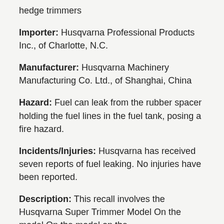hedge trimmers
Importer: Husqvarna Professional Products Inc., of Charlotte, N.C.
Manufacturer: Husqvarna Machinery Manufacturing Co. Ltd., of Shanghai, China
Hazard: Fuel can leak from the rubber spacer holding the fuel lines in the fuel tank, posing a fire hazard.
Incidents/Injuries: Husqvarna has received seven reports of fuel leaking. No injuries have been reported.
Description: This recall involves the Husqvarna Super Trimmer…